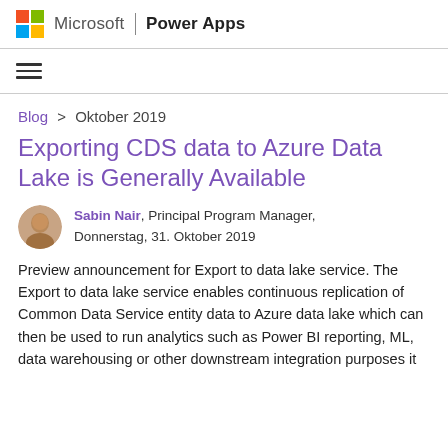Microsoft | Power Apps
[Figure (logo): Microsoft Windows logo (four colored squares) and 'Microsoft | Power Apps' header navigation]
Blog > Oktober 2019
Exporting CDS data to Azure Data Lake is Generally Available
Sabin Nair, Principal Program Manager, Donnerstag, 31. Oktober 2019
Preview announcement for Export to data lake service. The Export to data lake service enables continuous replication of Common Data Service entity data to Azure data lake which can then be used to run analytics such as Power BI reporting, ML, data warehousing or other downstream integration purposes it